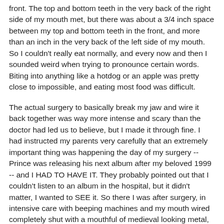front. The top and bottom teeth in the very back of the right side of my mouth met, but there was about a 3/4 inch space between my top and bottom teeth in the front, and more than an inch in the very back of the left side of my mouth. So I couldn't really eat normally, and every now and then I sounded weird when trying to pronounce certain words. Biting into anything like a hotdog or an apple was pretty close to impossible, and eating most food was difficult.
The actual surgery to basically break my jaw and wire it back together was way more intense and scary than the doctor had led us to believe, but I made it through fine. I had instructed my parents very carefully that an extremely important thing was happening the day of my surgery -- Prince was releasing his next album after my beloved 1999 -- and I HAD TO HAVE IT. They probably pointed out that I couldn't listen to an album in the hospital, but it didn't matter, I wanted to SEE it. So there I was after surgery, in intensive care with beeping machines and my mouth wired completely shut with a mouthful of medieval looking metal, clutching my Purple Rain album.